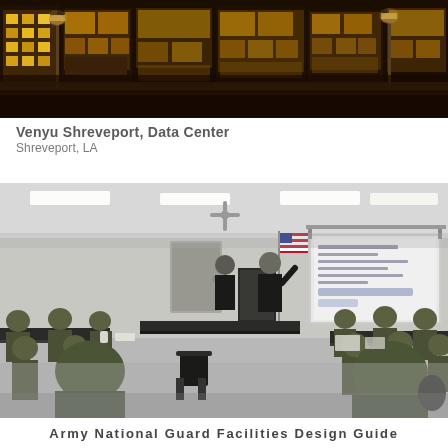[Figure (photo): Nighttime street scene showing a commercial building with warm golden/yellow illuminated storefronts, street lights visible, Venyu Shreveport Data Center exterior]
Venyu Shreveport, Data Center
Shreveport, LA
[Figure (photo): Black and white photograph of a military briefing room with soldiers in camouflage uniforms seated at tables arranged in a U-shape, a presenter standing at a podium with American flag, and a projection screen showing a presentation]
Army National Guard Facilities Design Guide